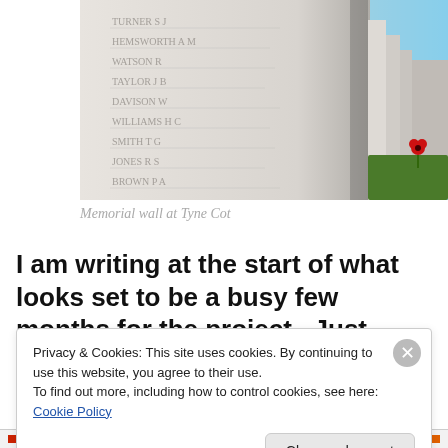[Figure (photo): Close-up photograph of a white memorial wall with engraved names at Tyne Cot cemetery. The wall curves away in the background with green grass and a red flower visible.]
Memorial wall at Tyne Cot
I am writing at the start of what looks set to be a busy few months for the project.  Just yesterday, I was lucky enough
Privacy & Cookies: This site uses cookies. By continuing to use this website, you agree to their use.
To find out more, including how to control cookies, see here: Cookie Policy
Close and accept